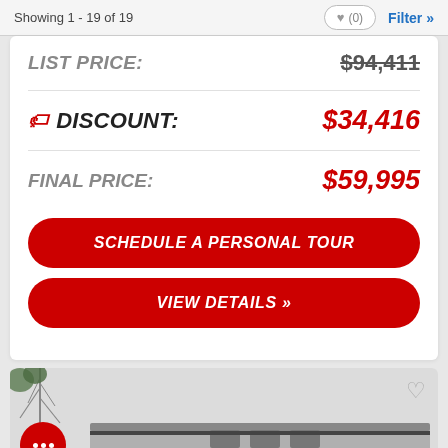Showing 1 - 19 of 19
| Label | Value |
| --- | --- |
| LIST PRICE: | $94,411 |
| DISCOUNT: | $34,416 |
| FINAL PRICE: | $59,995 |
SCHEDULE A PERSONAL TOUR
VIEW DETAILS »
[Figure (photo): Partial view of an RV/travel trailer in a winter setting with bare trees in the background]